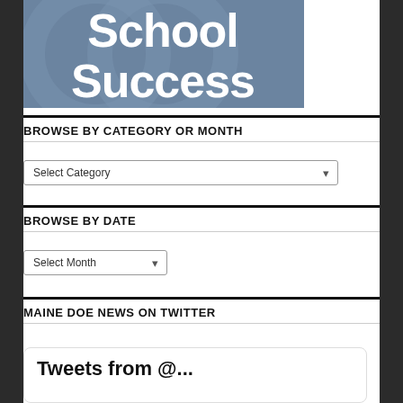[Figure (logo): School Success logo — blue-gray banner with large white text reading 'School Success' with a decorative background]
BROWSE BY CATEGORY OR MONTH
Select Category (dropdown)
BROWSE BY DATE
Select Month (dropdown)
MAINE DOE NEWS ON TWITTER
Tweets from @...